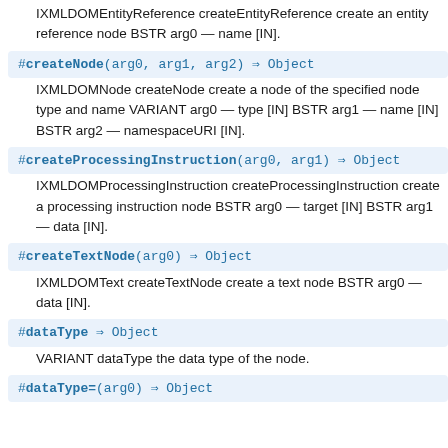IXMLDOMEntityReference createEntityReference create an entity reference node BSTR arg0 — name [IN].
#createNode(arg0, arg1, arg2) ⇒ Object
IXMLDOMNode createNode create a node of the specified node type and name VARIANT arg0 — type [IN] BSTR arg1 — name [IN] BSTR arg2 — namespaceURI [IN].
#createProcessingInstruction(arg0, arg1) ⇒ Object
IXMLDOMProcessingInstruction createProcessingInstruction create a processing instruction node BSTR arg0 — target [IN] BSTR arg1 — data [IN].
#createTextNode(arg0) ⇒ Object
IXMLDOMText createTextNode create a text node BSTR arg0 — data [IN].
#dataType ⇒ Object
VARIANT dataType the data type of the node.
#dataType=(arg0) ⇒ Object